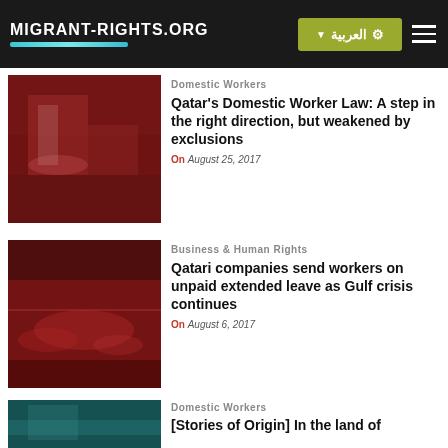MIGRANT-RIGHTS.ORG | العربية | menu
[Figure (photo): Red-tinted photo of a domestic worker in a kitchen]
Domestic Workers
Qatar's Domestic Worker Law: A step in the right direction, but weakened by exclusions
On August 25, 2017
[Figure (photo): Red-tinted photo of food being prepared on a stove]
Business & Human Rights
Qatari companies send workers on unpaid extended leave as Gulf crisis continues
On August 6, 2017
[Figure (photo): Teal-tinted photo of outdoor scene]
Domestic Workers
[Stories of Origin] In the land of